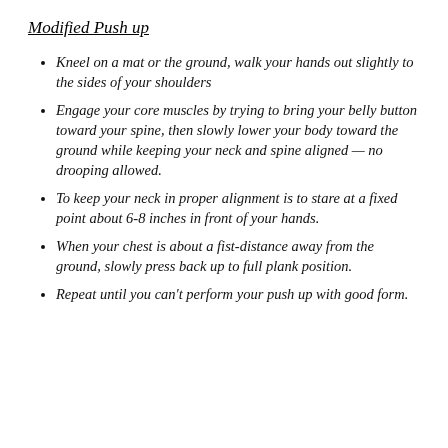Modified Push up
Kneel on a mat or the ground, walk your hands out slightly to the sides of your shoulders
Engage your core muscles by trying to bring your belly button toward your spine, then slowly lower your body toward the ground while keeping your neck and spine aligned — no drooping allowed.
To keep your neck in proper alignment is to stare at a fixed point about 6-8 inches in front of your hands.
When your chest is about a fist-distance away from the ground, slowly press back up to full plank position.
Repeat until you can't perform your push up with good form.